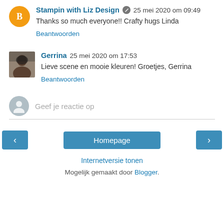Stampin with Liz Design  25 mei 2020 om 09:49
Thanks so much everyone!! Crafty hugs Linda
Beantwoorden
Gerrina  25 mei 2020 om 17:53
Lieve scene en mooie kleuren! Groetjes, Gerrina
Beantwoorden
Geef je reactie op
Homepage
Internetversie tonen
Mogelijk gemaakt door Blogger.